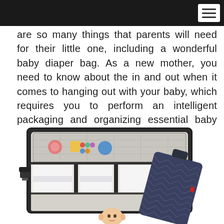are so many things that parents will need for their little one, including a wonderful baby diaper bag. As a new mother, you need to know about the in and out when it comes to hanging out with your baby, which requires you to perform an intelligent packaging and organizing essential baby items.
[Figure (photo): Product photo showing a baby diaper changing mat/bag opened flat with compartments holding diapers and baby items, a baby lying on the mat at the bottom, and a folded navy chevron-patterned version of the bag shown to the right]